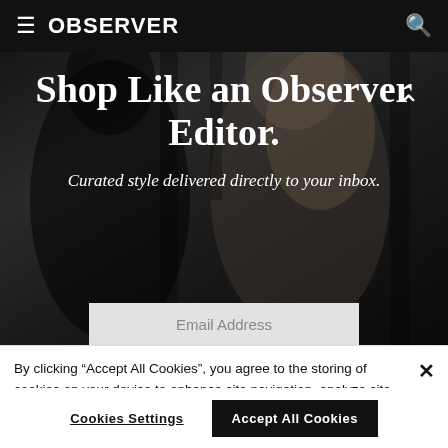OBSERVER
[Figure (photo): Dark black and white photo of two people, one with long blonde hair, used as hero background for Observer newsletter signup]
Shop Like an Observer Editor.
Curated style delivered directly to your inbox.
Email Address
By clicking “Accept All Cookies”, you agree to the storing of cookies on your device to enhance site navigation, analyze site usage, and assist in our marketing efforts.
Cookies Settings
Accept All Cookies